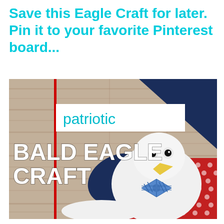Save this Eagle Craft for later. Pin it to your favorite Pinterest board...
[Figure (photo): Photo of a handmade bald eagle craft made from paper plates and felt, with a patriotic theme. The eagle has a white paper plate body, googly eyes, a yellow beak, and a blue plaid bow tie. Navy blue felt wings are visible, and a red polka-dot fabric is in the background. Text overlay reads 'patriotic BALD EAGLE CRAFT'. A red vertical line on the left side indicates a Pinterest pin-it graphic.]